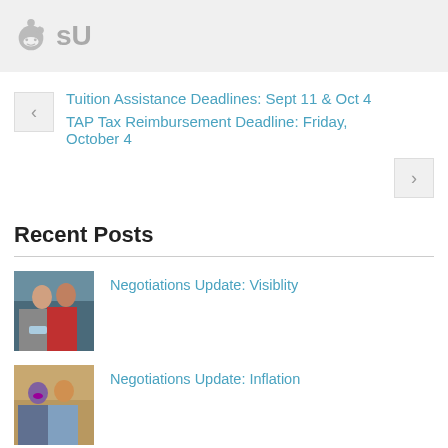[Figure (other): Social sharing icons bar showing Reddit and StumbleUpon logos in grey]
Tuition Assistance Deadlines: Sept 11 & Oct 4
TAP Tax Reimbursement Deadline: Friday, October 4
Recent Posts
Negotiations Update: Visiblity
[Figure (photo): Two people posing outdoors, one in grey jacket and one in red jacket holding a certificate]
Negotiations Update: Inflation
[Figure (photo): Two people indoors, one appears to be a woman in glasses]